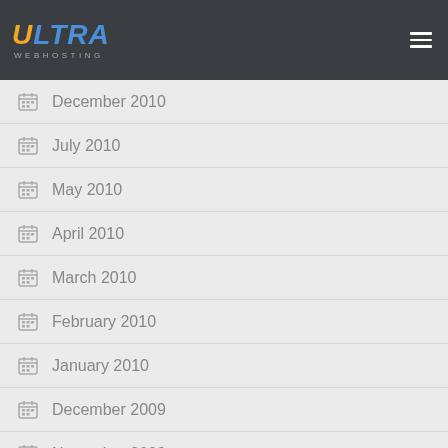ULTRA WEBHOSTING
December 2010
July 2010
May 2010
April 2010
March 2010
February 2010
January 2010
December 2009
November 2009